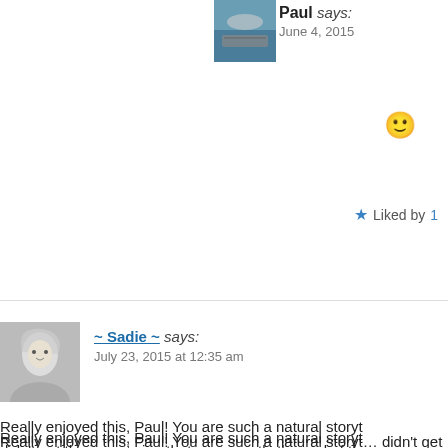Paul says: June 4, 2015
[Figure (photo): Avatar photo of Paul showing a vehicle over water]
🙂
★ Liked by 1
~ Sadie ~ says: July 23, 2015 at 12:35 am
[Figure (photo): Avatar photo of Sadie, a woman with light curly hair]
Really enjoyed this, Paul! You are such a natural storyt… didn't get the impression that was exactly the end of th… AND I do believe in kismet ❤ What a story that woul…
★ Like
Reply